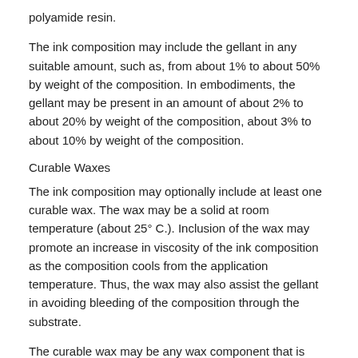polyamide resin.
The ink composition may include the gellant in any suitable amount, such as, from about 1% to about 50% by weight of the composition. In embodiments, the gellant may be present in an amount of about 2% to about 20% by weight of the composition, about 3% to about 10% by weight of the composition.
Curable Waxes
The ink composition may optionally include at least one curable wax. The wax may be a solid at room temperature (about 25° C.). Inclusion of the wax may promote an increase in viscosity of the ink composition as the composition cools from the application temperature. Thus, the wax may also assist the gellant in avoiding bleeding of the composition through the substrate.
The curable wax may be any wax component that is miscible with the other components and that will polymerize with the curable monomer to form a polymer. The term, wax, includes, for example, any of the various natural, modified natural and synthetic materials